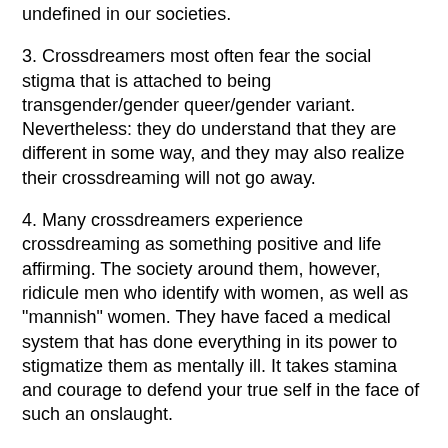undefined in our societies.
3. Crossdreamers most often fear the social stigma that is attached to being transgender/gender queer/gender variant. Nevertheless: they do understand that they are different in some way, and they may also realize their crossdreaming will not go away.
4. Many crossdreamers experience crossdreaming as something positive and life affirming. The society around them, however, ridicule men who identify with women, as well as "mannish" women. They have faced a medical system that has done everything in its power to stigmatize them as mentally ill. It takes stamina and courage to defend your true self in the face of such an onslaught.
Facing all these seemingly impossible dilemmas, some crossdreamers close off their sexual desire in desperation. "If I cannot have a sex life in harmony with what I feel, it is much better to feel nothing at all." For others the libido is channeled into depression or hyperactivity. Others live with the tensions between these seemingly irreconcilable